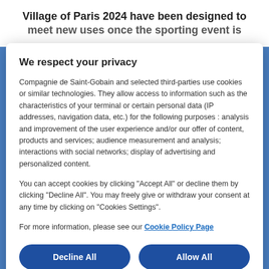Village of Paris 2024 have been designed to meet new uses once the sporting event is
We respect your privacy
Compagnie de Saint-Gobain and selected third-parties use cookies or similar technologies. They allow access to information such as the characteristics of your terminal or certain personal data (IP addresses, navigation data, etc.) for the following purposes : analysis and improvement of the user experience and/or our offer of content, products and services; audience measurement and analysis; interactions with social networks; display of advertising and personalized content.
You can accept cookies by clicking "Accept All" or decline them by clicking "Decline All". You may freely give or withdraw your consent at any time by clicking on "Cookies Settings".
For more information, please see our Cookie Policy Page
Decline All
Allow All